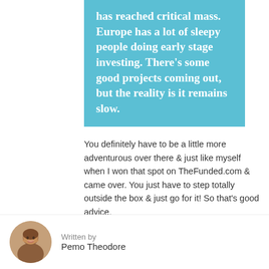has reached critical mass.  Europe has a lot of sleepy people doing early stage investing.  There's some good projects coming out, but the reality is it remains slow.
You definitely have to be a little more adventurous over there & just like myself when I won that spot on TheFunded.com & came over.  You just have to step totally outside the box & just go for it!  So that's good advice.
The other thing I would say, so here's a typical Europe…
Written by
Pemo Theodore